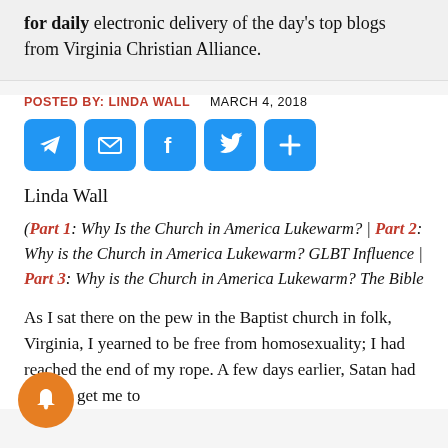for daily electronic delivery of the day's top blogs from Virginia Christian Alliance.
POSTED BY: LINDA WALL   MARCH 4, 2018
[Figure (other): Row of social sharing icon buttons: Telegram, Email, Facebook, Twitter, Share]
Linda Wall
(Part 1: Why Is the Church in America Lukewarm? | Part 2: Why is the Church in America Lukewarm? GLBT Influence | Part 3: Why is the Church in America Lukewarm? The Bible
As I sat there on the pew in the Baptist church in Norfolk, Virginia, I yearned to be free from homosexuality; I had reached the end of my rope. A few days earlier, Satan had tried to get me to